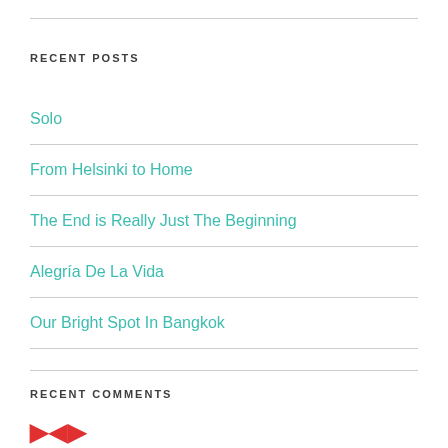RECENT POSTS
Solo
From Helsinki to Home
The End is Really Just The Beginning
Alegría De La Vida
Our Bright Spot In Bangkok
RECENT COMMENTS